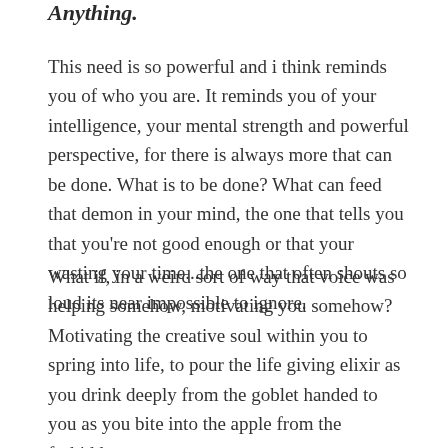Anything.
This need is so powerful and i think reminds you of who you are. It reminds you of your intelligence, your mental strength and powerful perspective, for there is always more that can be done. What is to be done? What can feed that demon in your mind, the one that tells you that you're not good enough or that your wasting your time...the one that often shouts so loud its near impossible to ignore.
What if, in a weird sort of way that voice was helping somehow, motivating you somehow? Motivating the creative soul within you to spring into life, to pour the life giving elixir as you drink deeply from the goblet handed to you as you bite into the apple from the forbidden tree.